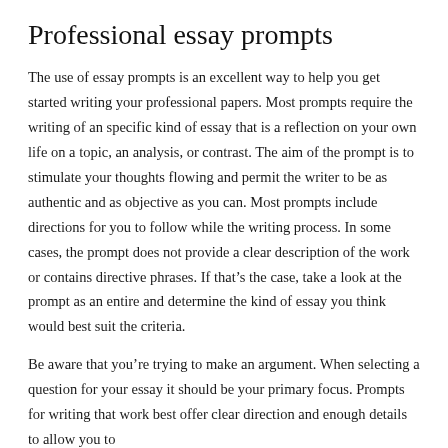Professional essay prompts
The use of essay prompts is an excellent way to help you get started writing your professional papers. Most prompts require the writing of an specific kind of essay that is a reflection on your own life on a topic, an analysis, or contrast. The aim of the prompt is to stimulate your thoughts flowing and permit the writer to be as authentic and as objective as you can. Most prompts include directions for you to follow while the writing process. In some cases, the prompt does not provide a clear description of the work or contains directive phrases. If that’s the case, take a look at the prompt as an entire and determine the kind of essay you think would best suit the criteria.
Be aware that you’re trying to make an argument. When selecting a question for your essay it should be your primary focus. Prompts for writing that work best offer clear direction and enough details to allow you to